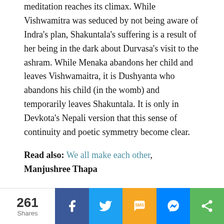meditation reaches its climax. While Vishwamitra was seduced by not being aware of Indra's plan, Shakuntala's suffering is a result of her being in the dark about Durvasa's visit to the ashram. While Menaka abandons her child and leaves Vishwamaitra, it is Dushyanta who abandons his child (in the womb) and temporarily leaves Shakuntala. It is only in Devkota's Nepali version that this sense of continuity and poetic symmetry become clear.
Read also: We all make each other, Manjushree Thapa
Devkota's genius lies in his careful delineation of different chhanda for each section which
[Figure (infographic): Social share bar showing 261 Shares, with buttons for Facebook, Twitter, SMS, Messenger, and More (share icon)]